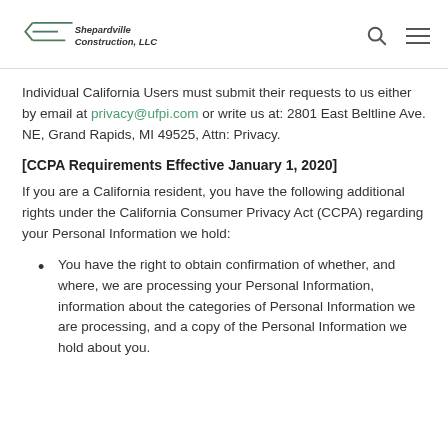Shepardville Construction, LLC
Individual California Users must submit their requests to us either by email at privacy@ufpi.com or write us at: 2801 East Beltline Ave. NE, Grand Rapids, MI 49525, Attn: Privacy.
[CCPA Requirements Effective January 1, 2020]
If you are a California resident, you have the following additional rights under the California Consumer Privacy Act (CCPA) regarding your Personal Information we hold:
You have the right to obtain confirmation of whether, and where, we are processing your Personal Information, information about the categories of Personal Information we are processing, and a copy of the Personal Information we hold about you.